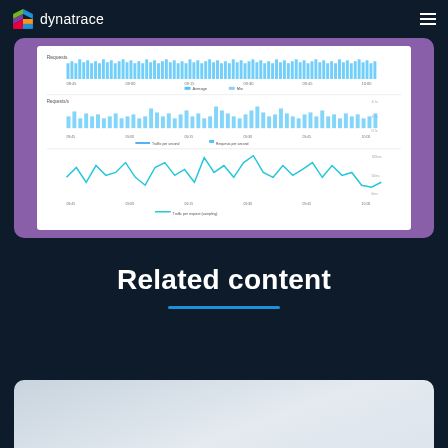dynatrace
[Figure (screenshot): Dynatrace dashboard screenshot showing multiple time-series charts: a bar chart of requests at the top, a combined bar and line chart of traffic per second and requests per second in the middle, and a line chart of traffic per request (sampling) at the bottom. All charts show time-series data over approximately 1-2 hours with time labels along the x-axis.]
Related content